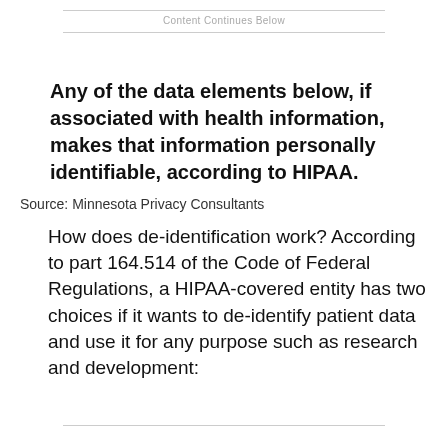Content Continues Below
Any of the data elements below, if associated with health information, makes that information personally identifiable, according to HIPAA.
Source: Minnesota Privacy Consultants
How does de-identification work? According to part 164.514 of the Code of Federal Regulations, a HIPAA-covered entity has two choices if it wants to de-identify patient data and use it for any purpose such as research and development: